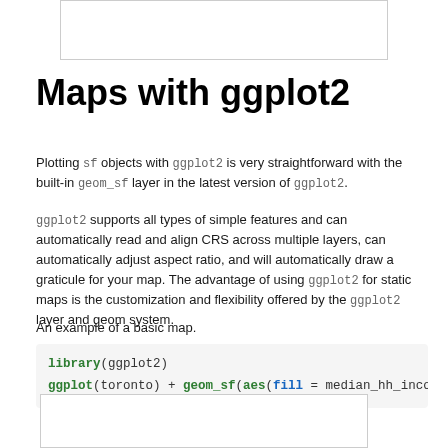[Figure (other): Empty white box with border at top of page]
Maps with ggplot2
Plotting sf objects with ggplot2 is very straightforward with the built-in geom_sf layer in the latest version of ggplot2.
ggplot2 supports all types of simple features and can automatically read and align CRS across multiple layers, can automatically adjust aspect ratio, and will automatically draw a graticule for your map. The advantage of using ggplot2 for static maps is the customization and flexibility offered by the ggplot2 layer and geom system.
An example of a basic map.
library(ggplot2)
ggplot(toronto) + geom_sf(aes(fill = median_hh_income)
[Figure (other): Empty white box with border at bottom of page]